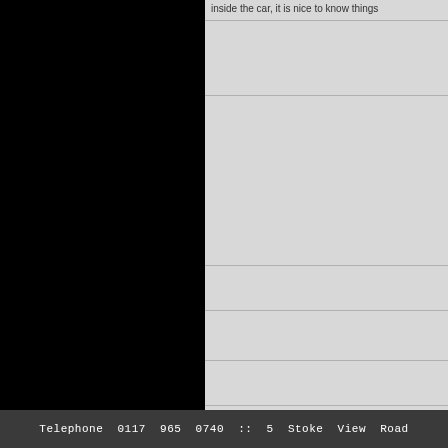inside the car, it is nice to know things
[Figure (photo): Large black rectangle occupying the left portion of the page, likely a dark photograph or image area]
Telephone  0117  965  0740  ::  5  Stoke  View  Road